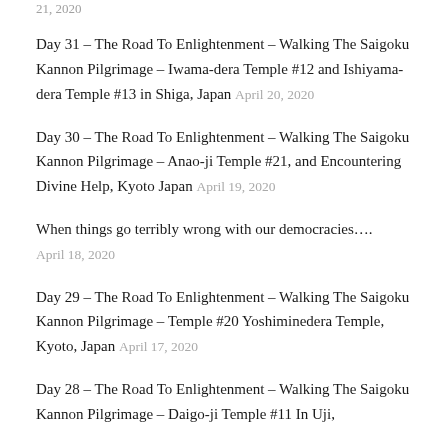21, 2020
Day 31 – The Road To Enlightenment – Walking The Saigoku Kannon Pilgrimage – Iwama-dera Temple #12 and Ishiyama-dera Temple #13 in Shiga, Japan April 20, 2020
Day 30 – The Road To Enlightenment – Walking The Saigoku Kannon Pilgrimage – Anao-ji Temple #21, and Encountering Divine Help, Kyoto Japan April 19, 2020
When things go terribly wrong with our democracies.... April 18, 2020
Day 29 – The Road To Enlightenment – Walking The Saigoku Kannon Pilgrimage – Temple #20 Yoshiminedera Temple, Kyoto, Japan April 17, 2020
Day 28 – The Road To Enlightenment – Walking The Saigoku Kannon Pilgrimage – Daigo-ji Temple #11 In Uji,